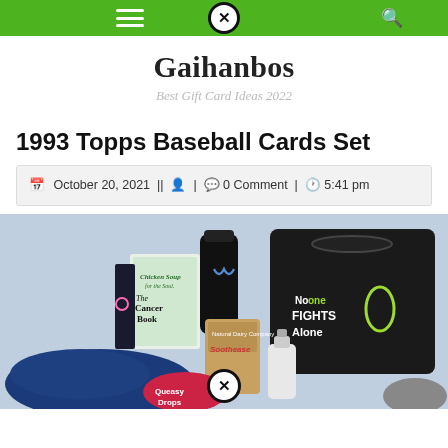Gaihanbos — Best Gift Card Ideas 2022 (website header with navigation bar)
Gaihanbos
Best Gift Card Ideas 2022
1993 Topps Baseball Cards Set
October 20, 2021 || [user icon] | [comment icon] 0 Comment | [clock icon] 5:41 pm
[Figure (photo): A collection of cancer care gift items including a black tote bag with 'No One Fights Alone' text, Chicken Soup for the Soul: The Cancer Book, a navy fleece blanket, a black water bottle with a blue awareness ribbon, a kraft bag of Soothease, a Queasy Drops tin, a hand soap bottle, and a gray item, all arranged together on a white background.]